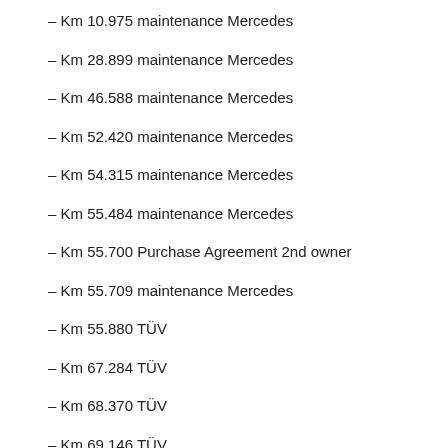– Km 10.975 maintenance Mercedes
– Km 28.899 maintenance Mercedes
– Km 46.588 maintenance Mercedes
– Km 52.420 maintenance Mercedes
– Km 54.315 maintenance Mercedes
– Km 55.484 maintenance Mercedes
– Km 55.700 Purchase Agreement 2nd owner
– Km 55.709 maintenance Mercedes
– Km 55.880 TÜV
– Km 67.284 TÜV
– Km 68.370 TÜV
– Km 69.146 TÜV
– Km 70.048 TÜV
– Km 70.806 Classic Data
– Km 71.146 Maintenance service